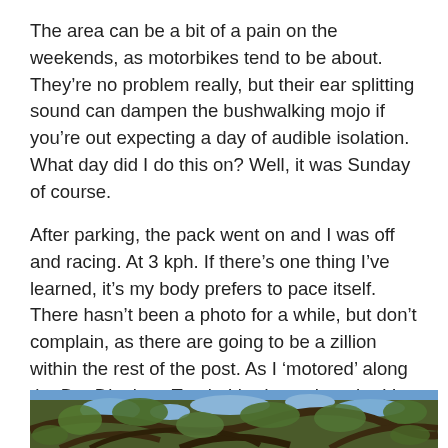The area can be a bit of a pain on the weekends, as motorbikes tend to be about. They’re no problem really, but their ear splitting sound can dampen the bushwalking mojo if you’re out expecting a day of audible isolation. What day did I do this on? Well, it was Sunday of course.
After parking, the pack went on and I was off and racing. At 3 kph. If there’s one thing I’ve learned, it’s my body prefers to pace itself. There hasn’t been a photo for a while, but don’t complain, as there are going to be a zillion within the rest of the post. As I ‘motored’ along the Dry Diggings Track, I had one thought. It’s dry.
[Figure (photo): Photograph looking up through gnarled eucalyptus tree branches with sparse green leaves against a blue sky, taken on the Dry Diggings Track.]